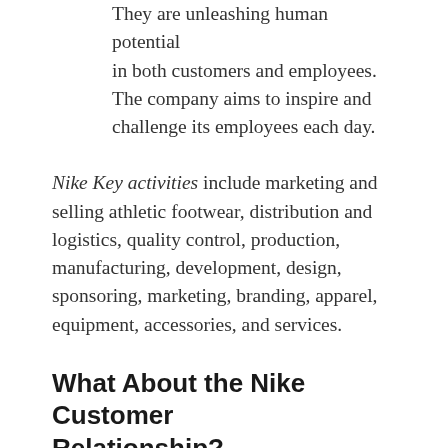They are unleashing human potential in both customers and employees. The company aims to inspire and challenge its employees each day.
Nike Key activities include marketing and selling athletic footwear, distribution and logistics, quality control, production, manufacturing, development, design, sponsoring, marketing, branding, apparel, equipment, accessories, and services.
What About the Nike Customer Relationship?
Nike knows how to serve its customers. In the retail stores Nike offers, there is not a